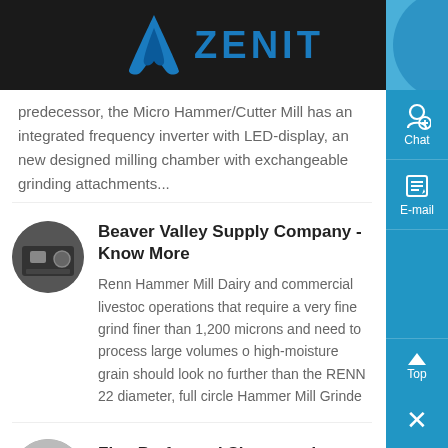ZENIT
predecessor, the Micro Hammer/Cutter Mill has an integrated frequency inverter with LED-display, an new designed milling chamber with exchangeable grinding attachments...
Beaver Valley Supply Company - Know More
Renn Hammer Mill Dairy and commercial livestock operations that require a very fine grind finer than 1,200 microns and need to process large volumes of high-moisture grain should look no further than the RENN 22 diameter, full circle Hammer Mill Grinde
Fine Perforated Sieves and Sheets, Perforated , - Know More